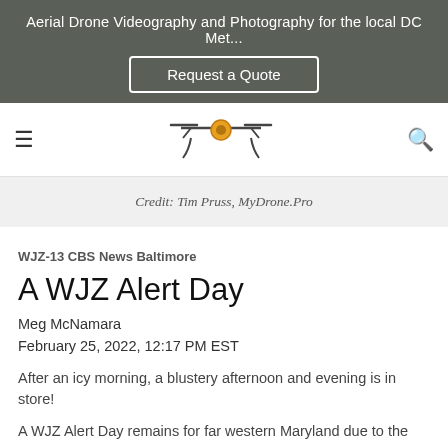Aerial Drone Videography and Photography for the local DC Met...
[Figure (other): Request a Quote button in white border on dark olive/grey banner background]
[Figure (logo): MyDrone.Pro logo with drone icon featuring camera lens and drone arms, hamburger menu icon on left, search icon on right]
Credit: Tim Pruss, MyDrone.Pro
WJZ-13 CBS News Baltimore
A WJZ Alert Day
Meg McNamara
February 25, 2022, 12:17 PM EST
After an icy morning, a blustery afternoon and evening is in store!
A WJZ Alert Day remains for far western Maryland due to the